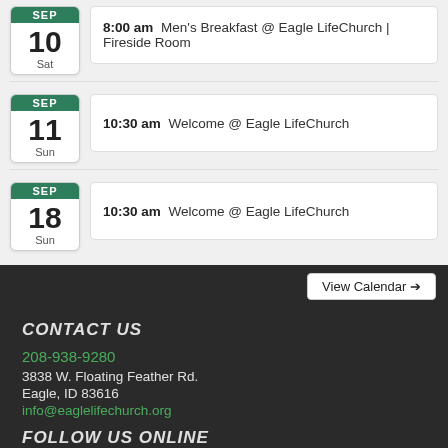8:00 am Men's Breakfast @ Eagle LifeChurch | Fireside Room, SEP 10 Sat
10:30 am Welcome @ Eagle LifeChurch, SEP 11 Sun
10:30 am Welcome @ Eagle LifeChurch, SEP 18 Sun
View Calendar →
CONTACT US
208-938-9280
3838 W. Floating Feather Rd.
Eagle, ID 83616
info@eaglelifechurch.org
FOLLOW US ONLINE